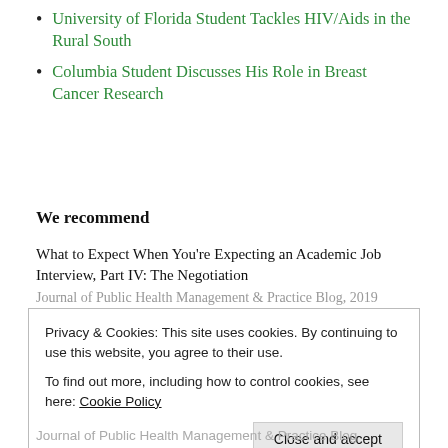University of Florida Student Tackles HIV/Aids in the Rural South
Columbia Student Discusses His Role in Breast Cancer Research
We recommend
What to Expect When You're Expecting an Academic Job Interview, Part IV: The Negotiation
Journal of Public Health Management & Practice Blog, 2019
Privacy & Cookies: This site uses cookies. By continuing to use this website, you agree to their use.
To find out more, including how to control cookies, see here: Cookie Policy
Journal of Public Health Management & Practice Blog